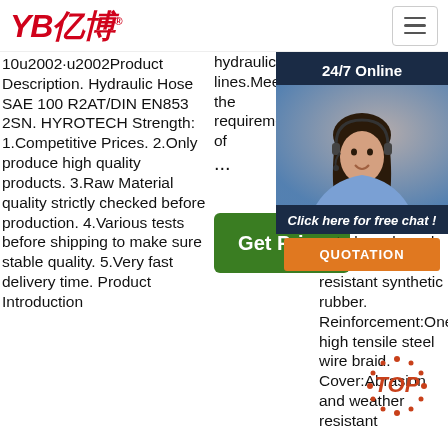YB亿博 logo and navigation header
10u2002·u2002Product Description. Hydraulic Hose SAE 100 R2AT/DIN EN853 2SN. HYROTECH Strength: 1.Competitive Prices. 2.Only produce high quality products. 3.Raw Material quality strictly checked before production. 4.Various tests before shipping to make sure stable quality. 5.Very fast delivery time. Product Introduction
hydraulic lines.Meets&exceeds the requirements of …
Get Price
13u2002·u2002DIN EN853 2SN. Construction. Applicable pressure applications including mobile machinery and agriculture petroleum based fluids. Tube:Oil resistant synthetic rubber. Reinforcement:One high tensile steel wire braid. Cover:Abrasion and weather resistant
[Figure (photo): Customer service representative woman with headset, part of 24/7 Online chat widget overlay]
24/7 Online
Click here for free chat !
QUOTATION